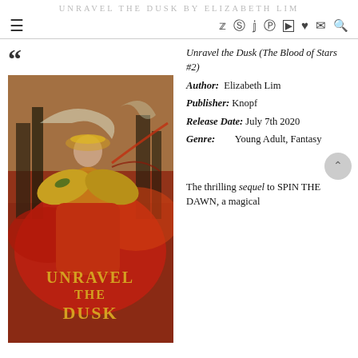UNRAVEL THE DUSK BY ELIZABETH LIM
[Figure (screenshot): Navigation bar with hamburger menu icon on left and social media icons (Twitter, Pinterest, Facebook, Instagram, YouTube, heart, email, search) on right]
[Figure (photo): Book cover of 'Unravel the Dusk' showing a young woman in red robes with golden wings and ornate headdress, background with dark trees and swirling mist. Title 'UNRAVEL THE DUSK' in gold letters at bottom.]
Unravel the Dusk (The Blood of Stars #2)
Author: Elizabeth Lim
Publisher: Knopf
Release Date: July 7th 2020
Genre: Young Adult, Fantasy
The thrilling sequel to SPIN THE DAWN, a magical